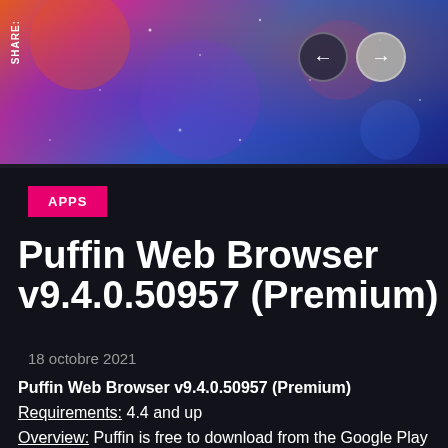[Figure (screenshot): Colorful banner image with gradient background (orange, purple, blue) and decorative circles/stars, navigation arrows on the right side and SHARE label on the left.]
APPS
Puffin Web Browser v9.4.0.50957 (Premium)
18 octobre 2021
Puffin Web Browser v9.4.0.50957 (Premium)
Requirements: 4.4 and up
Overview: Puffin is free to download from the Google Play Store but requires a paid subscription to work. Puffin also offers a free evaluation for users to try out before deciding to purchase. This free evaluation lasts